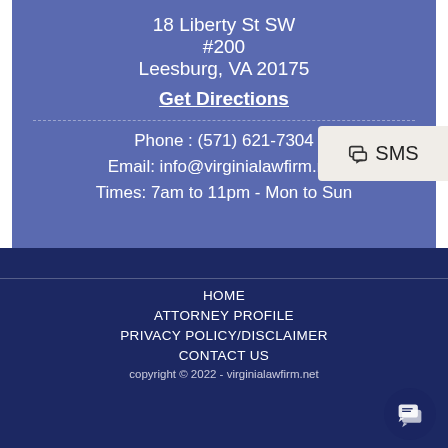18 Liberty St SW
#200
Leesburg, VA 20175
Get Directions
Phone : (571) 621-7304
Email: info@virginialawfirm.net
Times: 7am to 11pm - Mon to Sun
SMS
HOME
ATTORNEY PROFILE
PRIVACY POLICY/DISCLAIMER
CONTACT US
copyright © 2022 - virginialawfirm.net